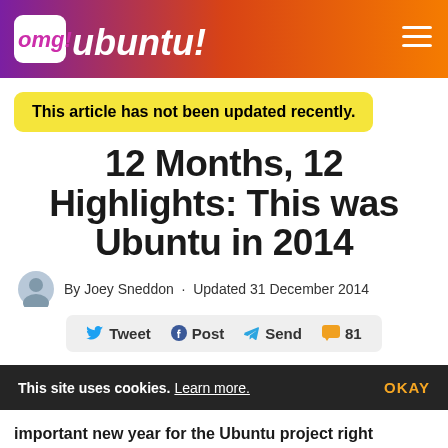omg! ubuntu!
This article has not been updated recently.
12 Months, 12 Highlights: This was Ubuntu in 2014
By Joey Sneddon · Updated 31 December 2014
Tweet  Post  Send  81
This site uses cookies. Learn more. OKAY
important new year for the Ubuntu project right